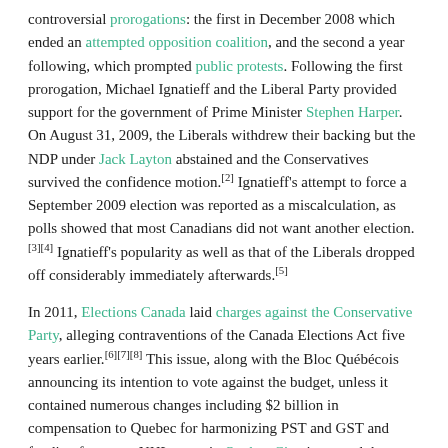controversial prorogations: the first in December 2008 which ended an attempted opposition coalition, and the second a year following, which prompted public protests. Following the first prorogation, Michael Ignatieff and the Liberal Party provided support for the government of Prime Minister Stephen Harper. On August 31, 2009, the Liberals withdrew their backing but the NDP under Jack Layton abstained and the Conservatives survived the confidence motion.[2] Ignatieff's attempt to force a September 2009 election was reported as a miscalculation, as polls showed that most Canadians did not want another election.[3][4] Ignatieff's popularity as well as that of the Liberals dropped off considerably immediately afterwards.[5]
In 2011, Elections Canada laid charges against the Conservative Party, alleging contraventions of the Canada Elections Act five years earlier.[6][7][8] This issue, along with the Bloc Québécois announcing its intention to vote against the budget, unless it contained numerous changes including $2 billion in compensation to Quebec for harmonizing PST and GST and funding for a new NHL arena in Quebec City, increased the speculation that there would be an election called soon as the Conservatives rejected the Bloc demands as "blackmail".[9]
On March 9, 2011, Speaker of the House of Commons Peter